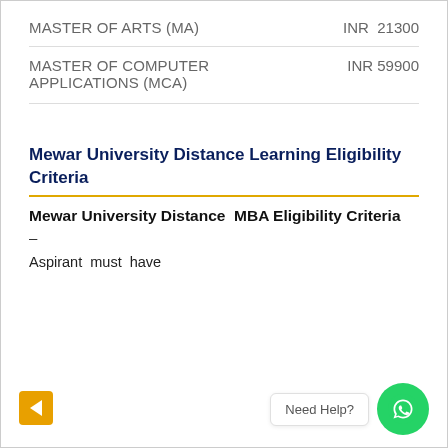MASTER OF ARTS (MA)   INR 21300
MASTER OF COMPUTER APPLICATIONS (MCA)   INR 59900
Mewar University Distance Learning Eligibility Criteria
Mewar University Distance MBA Eligibility Criteria
–
Aspirant must have